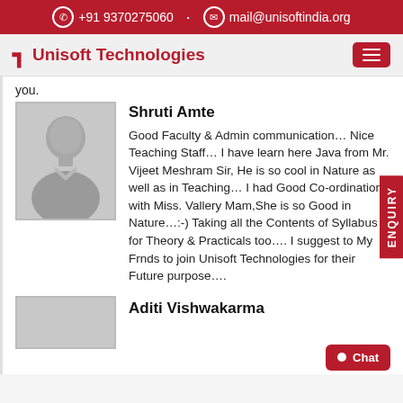+91 9370275060 · mail@unisoftindia.org
Unisoft Technologies
you.
Shruti Amte
[Figure (photo): Placeholder avatar image of a person in grayscale]
Good Faculty & Admin communication… Nice Teaching Staff… I have learn here Java from Mr. Vijeet Meshram Sir, He is so cool in Nature as well as in Teaching… I had Good Co-ordination with Miss. Vallery Mam,She is so Good in Nature…:-) Taking all the Contents of Syllabus for Theory & Practicals too…. I suggest to My Frnds to join Unisoft Technologies for their Future purpose….
Aditi Vishwakarma